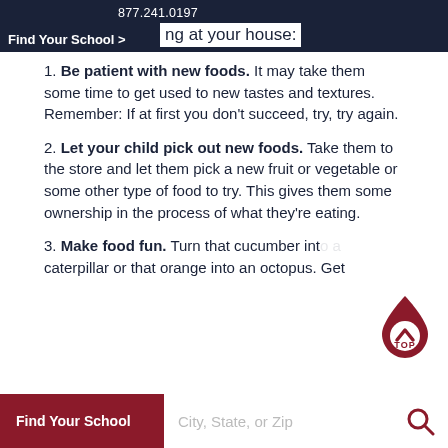877.241.0197 | Find Your School
ng at your house:
1. Be patient with new foods. It may take them some time to get used to new tastes and textures. Remember: If at first you don't succeed, try, try again.
2. Let your child pick out new foods. Take them to the store and let them pick a new fruit or vegetable or some other type of food to try. This gives them some ownership in the process of what they're eating.
3. Make food fun. Turn that cucumber into a caterpillar or that orange into an octopus. Get
Find Your School  City, State, or Zip